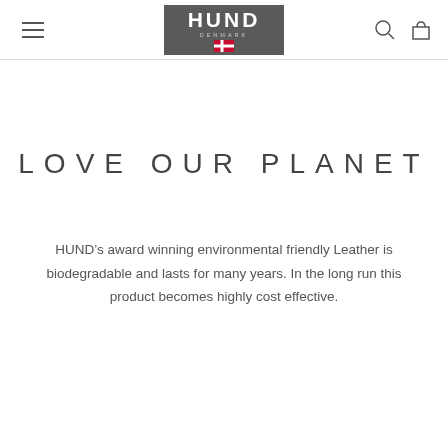HUND DENMARK [logo] [menu icon] [search icon] [cart icon]
LOVE OUR PLANET
HUND’s award winning environmental friendly Leather is biodegradable and lasts for many years. In the long run this product becomes highly cost effective.